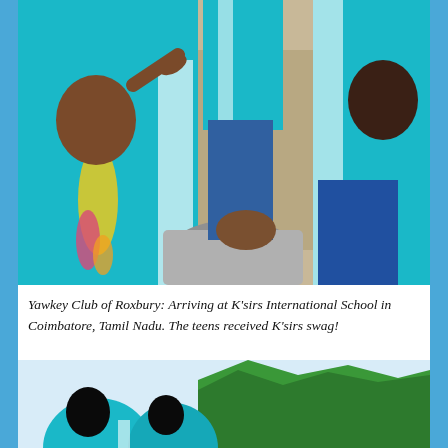[Figure (photo): Group of teens wearing teal/cyan K'sirs International School jerseys with white stripe. One person seated on the ground in a gray shirt, others standing around. Hexagonal paving stones visible in background.]
Yawkey Club of Roxbury: Arriving at K'sirs International School in Coimbatore, Tamil Nadu. The teens received K'sirs swag!
[Figure (photo): Teens in teal K'sirs jerseys gathered outdoors with trees and sky visible in background.]